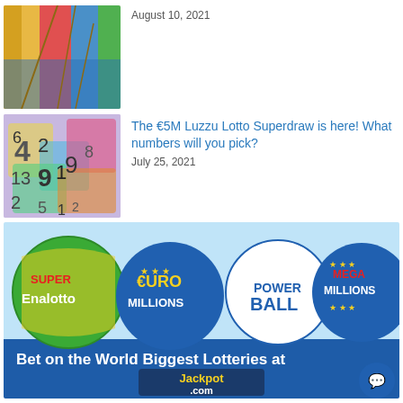[Figure (photo): Colorful boats or sails thumbnail image]
August 10, 2021
[Figure (photo): Colorful numbers on a surface thumbnail image]
The €5M Luzzu Lotto Superdraw is here! What numbers will you pick?
July 25, 2021
[Figure (illustration): Advertisement banner showing lottery balls: SuperEnalotto, EuroMillions, Powerball, MegaMillions with text 'Bet on the World Biggest Lotteries at Jackpot.com']